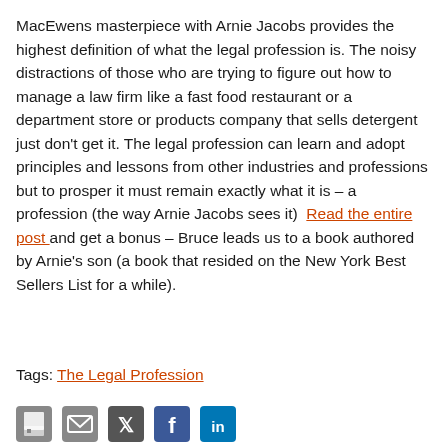MacEwens masterpiece with Arnie Jacobs provides the highest definition of what the legal profession is. The noisy distractions of those who are trying to figure out how to manage a law firm like a fast food restaurant or a department store or products company that sells detergent just don't get it. The legal profession can learn and adopt principles and lessons from other industries and professions but to prosper it must remain exactly what it is – a profession (the way Arnie Jacobs sees it)  Read the entire post and get a bonus – Bruce leads us to a book authored by Arnie's son (a book that resided on the New York Best Sellers List for a while).
Tags: The Legal Profession